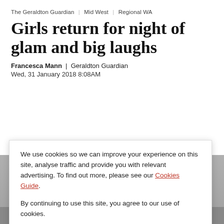The Geraldton Guardian | Mid West | Regional WA
Girls return for night of glam and big laughs
Francesca Mann | Geraldton Guardian
Wed, 31 January 2018 8:08AM
We use cookies so we can improve your experience on this site, analyse traffic and provide you with relevant advertising. To find out more, please see our Cookies Guide.

By continuing to use this site, you agree to our use of cookies.
CLOSE